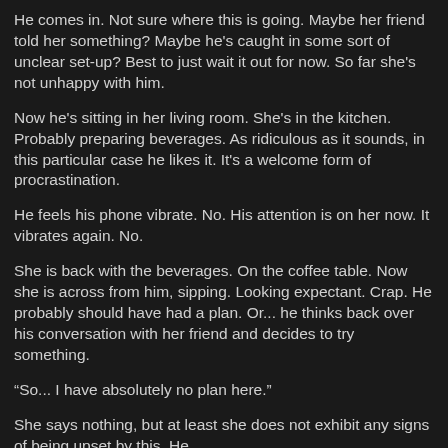He comes in. Not sure where this is going. Maybe her friend told her something? Maybe he's caught in some sort of unclear set-up? Best to just wait it out for now. So far she's not unhappy with him.
Now he's sitting in her living room. She's in the kitchen. Probably preparing beverages. As ridiculous as it sounds, in this particular case he likes it. It's a welcome form of procrastination.
He feels his phone vibrate. No. His attention is on her now. It vibrates again. No.
She is back with the beverages. On the coffee table. Now she is across from him, sipping. Looking expectant. Crap. He probably should have had a plan. Or... he thinks back over his conversation with her friend and decides to try something.
“So... I have absolutely no plan here.”
She says nothing, but at least she does not exhibit any signs of being upset by this. He